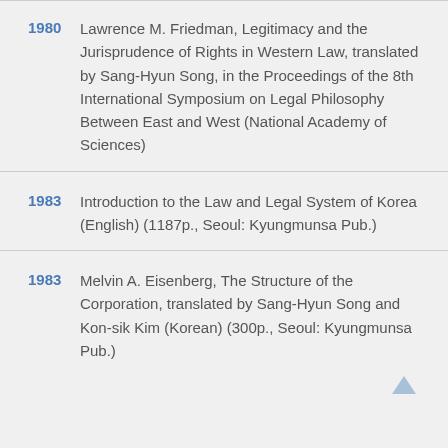1980 Lawrence M. Friedman, Legitimacy and the Jurisprudence of Rights in Western Law, translated by Sang-Hyun Song, in the Proceedings of the 8th International Symposium on Legal Philosophy Between East and West (National Academy of Sciences)
1983 Introduction to the Law and Legal System of Korea (English) (1187p., Seoul: Kyungmunsa Pub.)
1983 Melvin A. Eisenberg, The Structure of the Corporation, translated by Sang-Hyun Song and Kon-sik Kim (Korean) (300p., Seoul: Kyungmunsa Pub.)